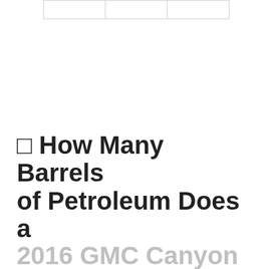|  |  |  |
□ How Many Barrels of Petroleum Does a 2016 GMC Canyon